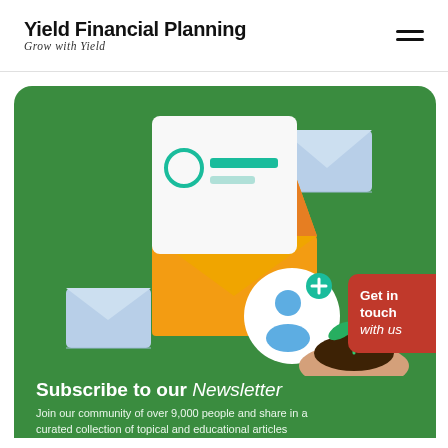Yield Financial Planning — Grow with Yield
[Figure (illustration): Green rounded card with newsletter illustration: open golden envelope with a letter/profile card inside, surrounded by light blue envelopes, a teal circle with a user icon and plus sign, and a hand holding soil with a plant sprout. Red side tab reading 'Get in touch with us'.]
Subscribe to our Newsletter
Join our community of over 9,000 people and share in a curated collection of topical and educational articles